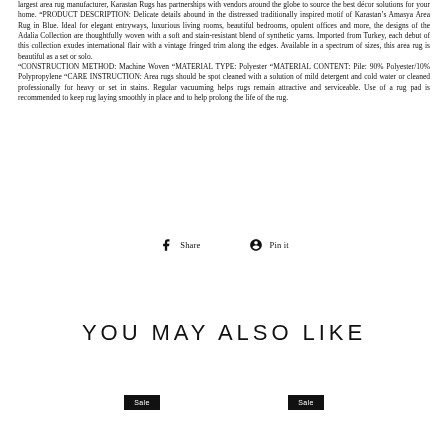largest area rug manufacturer, Karastan Rugs has partnerships with vendors around the globe to source the best décor solutions for your home. "PRODUCT DESCRIPTION: Delicate details abound in the distressed traditionally inspired motif of Karastan's Amasya Area Rug in Blue. Ideal for elegant entryways, luxurious living rooms, beautiful bedrooms, opulent offices and more, the designs of the Adalia Collection are thoughtfully woven with a soft and stain-resistant blend of synthetic yarns. Imported from Turkey, each debut of this collection exudes international flair with a vintage fringed trim along the edges. Available in a spectrum of sizes, this area rug is beautiful as a set or solo. "CONSTRUCTION METHOD: Machine Woven "MATERIAL TYPE: Polyester "MATERIAL CONTENT: Pile: 90% Polyester/10% Polypropylene "CARE INSTRUCTION: Area rugs should be spot cleaned with a solution of mild detergent and cold water or cleaned professionally for heavy or set in stains. Regular vacuuming helps rugs remain attractive and serviceable. Use of a rug pad is recommended to keep rug laying smoothly in place and to help prolong the life of the rug.
Share
Pin it
YOU MAY ALSO LIKE
Sale
Sale